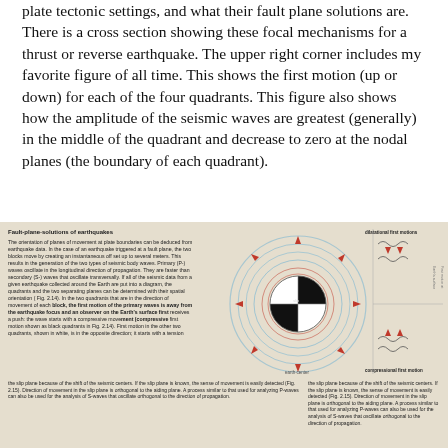plate tectonic settings, and what their fault plane solutions are. There is a cross section showing these focal mechanisms for a thrust or reverse earthquake. The upper right corner includes my favorite figure of all time. This shows the first motion (up or down) for each of the four quadrants. This figure also shows how the amplitude of the seismic waves are greatest (generally) in the middle of the quadrant and decrease to zero at the nodal planes (the boundary of each quadrant).
[Figure (infographic): Fault-plane-solutions of earthquakes figure showing text description on the left, a caption in the middle, and circular fault-plane diagram with compressional and dilatational first motion patterns, plus seismic wave illustrations on the right.]